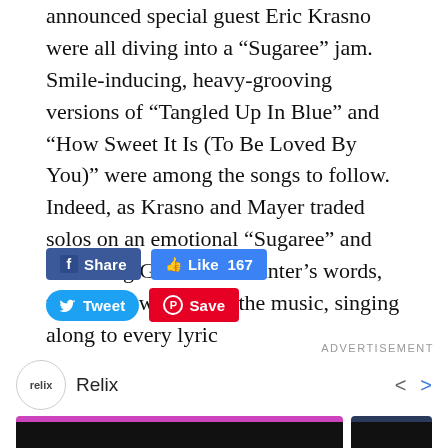announced special guest Eric Krasno were all diving into a “Sugaree” jam. Smile-inducing, heavy-grooving versions of “Tangled Up In Blue” and “How Sweet It Is (To Be Loved By You)” were among the songs to follow. Indeed, as Krasno and Mayer traded solos on an emotional “Sugaree” and Weir sang Garcia and Hunter’s words, the crowd was lost in the music, singing along to every lyric
[Figure (screenshot): Social media share buttons: Facebook Share button (dark blue), Facebook Like 167 button (blue), Twitter Tweet button (light blue, rounded), Pinterest Save button (red)]
ADVERTISEMENT
[Figure (screenshot): Relix advertisement carousel showing Relix logo circle, Relix text, navigation arrows (< >), and two dark thumbnail images with colored top borders (purple and dark blue)]